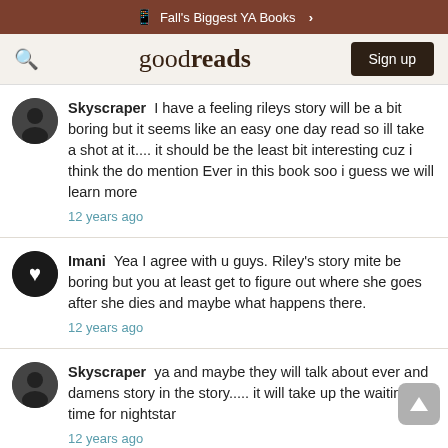Fall's Biggest YA Books >
goodreads  Sign up
Skyscraper I have a feeling rileys story will be a bit boring but it seems like an easy one day read so ill take a shot at it.... it should be the least bit interesting cuz i think the do mention Ever in this book soo i guess we will learn more
12 years ago
Imani Yea I agree with u guys. Riley's story mite be boring but you at least get to figure out where she goes after she dies and maybe what happens there.
12 years ago
Skyscraper ya and maybe they will talk about ever and damens story in the story..... it will take up the waiting time for nightstar
12 years ago
Elizabeth...